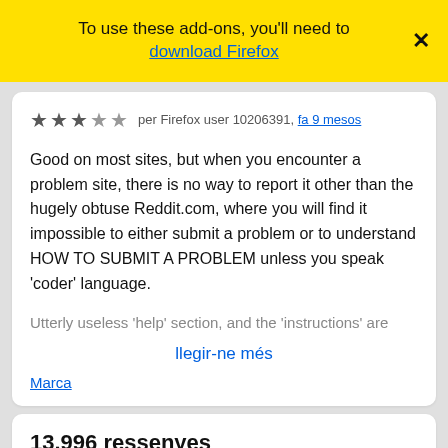To use these add-ons, you'll need to download Firefox
★★★☆☆ per Firefox user 10206391, fa 9 mesos
Good on most sites, but when you encounter a problem site, there is no way to report it other than the hugely obtuse Reddit.com, where you will find it impossible to either submit a problem or to understand HOW TO SUBMIT A PROBLEM unless you speak 'coder' language.
Utterly useless 'help' section, and the 'instructions' are
llegir-ne més
Marca
13.996 ressenyes
Mostra totes les ressenyes